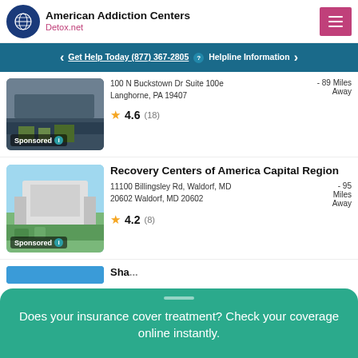[Figure (logo): American Addiction Centers Detox.net logo with circular globe icon and hamburger menu button]
Get Help Today (877) 367-2805  Helpline Information
[Figure (photo): Sponsored listing photo of a building with solar panels or dark roof]
100 N Buckstown Dr Suite 100e Langhorne, PA 19407 - 89 Miles Away
4.6 (18)
[Figure (photo): Recovery Centers of America Capital Region building exterior with landscaping]
Recovery Centers of America Capital Region
11100 Billingsley Rd, Waldorf, MD 20602 Waldorf, MD 20602 - 95 Miles Away
4.2 (8)
Does your insurance cover treatment? Check your coverage online instantly.